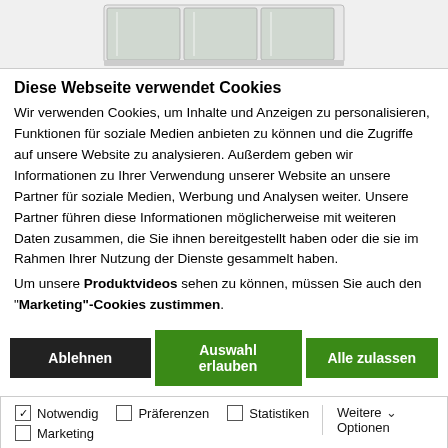[Figure (photo): Partial top view of a refrigerator or similar appliance with glass doors on a white/light grey background]
Diese Webseite verwendet Cookies
Wir verwenden Cookies, um Inhalte und Anzeigen zu personalisieren, Funktionen für soziale Medien anbieten zu können und die Zugriffe auf unsere Website zu analysieren. Außerdem geben wir Informationen zu Ihrer Verwendung unserer Website an unsere Partner für soziale Medien, Werbung und Analysen weiter. Unsere Partner führen diese Informationen möglicherweise mit weiteren Daten zusammen, die Sie ihnen bereitgestellt haben oder die sie im Rahmen Ihrer Nutzung der Dienste gesammelt haben.
Um unsere Produktvideos sehen zu können, müssen Sie auch den "Marketing"-Cookies zustimmen.
Ablehnen
Auswahl erlauben
Alle zulassen
Notwendig  Präferenzen  Statistiken  Marketing  Weitere Optionen